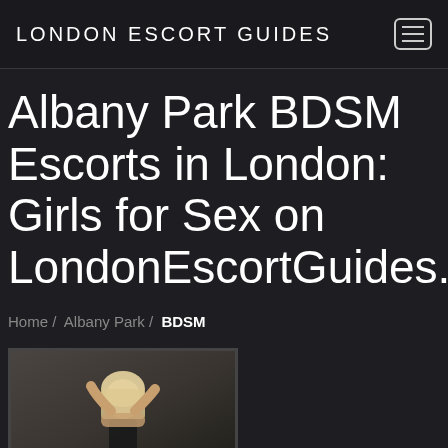LONDON ESCORT GUIDES
Albany Park BDSM Escorts in London: Girls for Sex on LondonEscortGuides.co.u
Home / Albany Park / BDSM
[Figure (photo): Photo of a person with blonde hair viewed from behind, against a textured dark background]